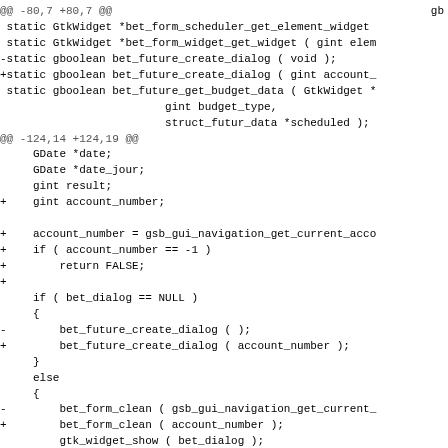@@ -80,7 +80,7 @@
 gb
 static GtkWidget *bet_form_scheduler_get_element_widget
 static GtkWidget *bet_form_widget_get_widget ( gint elem
-static gboolean bet_future_create_dialog ( void );
+static gboolean bet_future_create_dialog ( gint account_
 static gboolean bet_future_get_budget_data ( GtkWidget *
                         gint budget_type,
                         struct_futur_data *scheduled );
@@ -124,14 +124,19 @@
     GDate *date;
     GDate *date_jour;
     gint result;
+    gint account_number;

+    account_number = gsb_gui_navigation_get_current_acco
+    if ( account_number == -1 )
+        return FALSE;
+
     if ( bet_dialog == NULL )
     {
-        bet_future_create_dialog ( );
+        bet_future_create_dialog ( account_number );
     }
     else
     {
-        bet_form_clean ( gsb_gui_navigation_get_current_
+        bet_form_clean ( account_number );
         gtk_widget_show ( bet_dialog );
     }